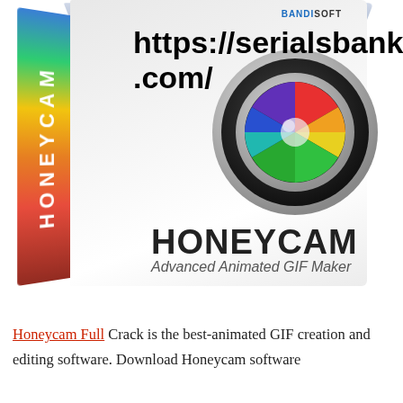[Figure (photo): Honeycam software product box with rainbow gradient spine showing 'HONEYCAM' vertically, front face showing a camera lens graphic, 'HONEYCAM' product name and 'Advanced Animated GIF Maker' subtitle, Bandisoft logo, and a watermark URL 'https://serialsbank.com/' overlaid on the image]
Honeycam Full Crack is the best-animated GIF creation and editing software. Download Honeycam software